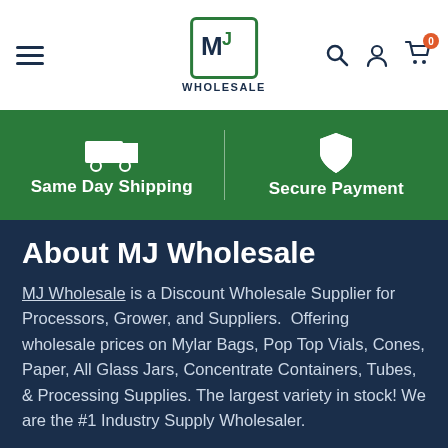MJ Wholesale - navigation header with hamburger menu, MJ Wholesale logo, search, user, and cart icons
[Figure (infographic): Green banner with two icons and labels: a truck icon with 'Same Day Shipping' and a shield icon with 'Secure Payment', separated by a vertical divider]
About MJ Wholesale
MJ Wholesale is a Discount Wholesale Supplier for Processors, Grower, and Suppliers.  Offering wholesale prices on Mylar Bags, Pop Top Vials, Cones, Paper, All Glass Jars, Concentrate Containers, Tubes, & Processing Supplies. The largest variety in stock! We are the #1 Industry Supply Wholesaler.
Stay Connected to the Newest Trends & U...